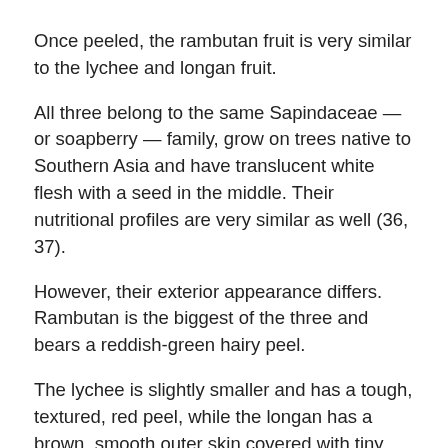Once peeled, the rambutan fruit is very similar to the lychee and longan fruit.
All three belong to the same Sapindaceae — or soapberry — family, grow on trees native to Southern Asia and have translucent white flesh with a seed in the middle. Their nutritional profiles are very similar as well (36, 37).
However, their exterior appearance differs. Rambutan is the biggest of the three and bears a reddish-green hairy peel.
The lychee is slightly smaller and has a tough, textured, red peel, while the longan has a brown, smooth outer skin covered with tiny hairs.
Their flavors also vary slightly. Rambutan is often described as sweet and creamy, while the lychee